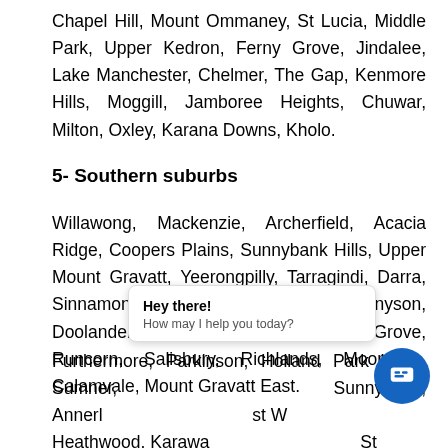Chapel Hill, Mount Ommaney, St Lucia, Middle Park, Upper Kedron, Ferny Grove, Jindalee, Lake Manchester, Chelmer, The Gap, Kenmore Hills, Moggill, Jamboree Heights, Chuwar, Milton, Oxley, Karana Downs, Kholo.
5- Southern suburbs
Willawong, Mackenzie, Archerfield, Acacia Ridge, Coopers Plains, Sunnybank Hills, Upper Mount Gravatt, Yeerongpilly, Tarragindi, Darra, Sinnamon Park, Yeronga, Burbank, Tennyson, Doolandella, Dutton Park, Ellen Grove, Runcorn, Salisbury, Richlands, Moorooka, Calamvale, Mount Gravatt East.
Furthermore, Parkinson, Holland Park West, Sumner, Sunnybank, Annerle... st ... Heathwood, Karawa... St ... Holland Park, Robertson, Algester, Kuraby, Seventeen